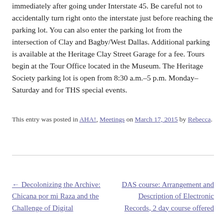immediately after going under Interstate 45. Be careful not to accidentally turn right onto the interstate just before reaching the parking lot. You can also enter the parking lot from the intersection of Clay and Bagby/West Dallas. Additional parking is available at the Heritage Clay Street Garage for a fee. Tours begin at the Tour Office located in the Museum. The Heritage Society parking lot is open from 8:30 a.m.–5 p.m. Monday–Saturday and for THS special events.
This entry was posted in AHA!, Meetings on March 17, 2015 by Rebecca.
← Decolonizing the Archive: Chicana por mi Raza and the Challenge of Digital
DAS course: Arrangement and Description of Electronic Records, 2 day course offered